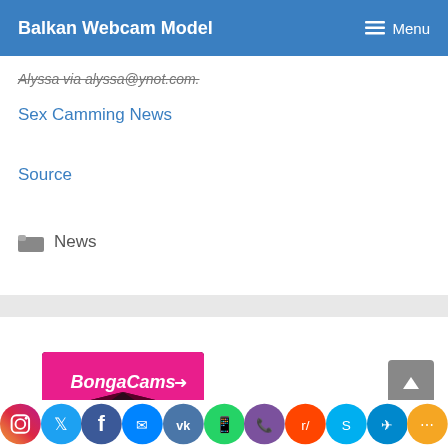Balkan Webcam Model    ☰ Menu
Alyssa via alyssa@ynot.com.
Sex Camming News
Source
News
[Figure (logo): BongaCams logo banner with pink and dark purple envelope design]
[Figure (infographic): Row of social media share icons: Instagram, Twitter, Facebook, Messenger, VK, WhatsApp, Viber, Reddit, Skype, Telegram, Share]